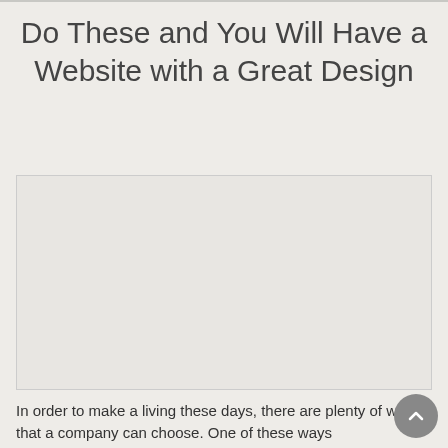Do These and You Will Have a Website with a Great Design
[Figure (other): Large empty placeholder image box with light gray background and thin border]
In order to make a living these days, there are plenty of ways that a company can choose. One of these ways